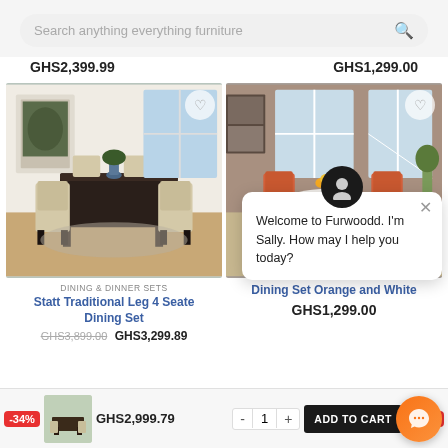[Figure (screenshot): E-commerce furniture website screenshot showing search bar, product listings, and chat popup]
GHS2,399.99
GHS1,299.00
[Figure (photo): Dining set with dark table and beige upholstered chairs in white room]
[Figure (photo): Round white pedestal dining table with orange/coral chairs]
DINING & DINNER SETS
Statt Traditional Leg 4 Seater Dining Set
GHS3,899.00  GHS3,299.89
Dining Set Orange and White
GHS1,299.00
Welcome to Furwoodd. I'm Sally. How may I help you today?
GHS2,999.79
-34%
-32%
ADD TO CART